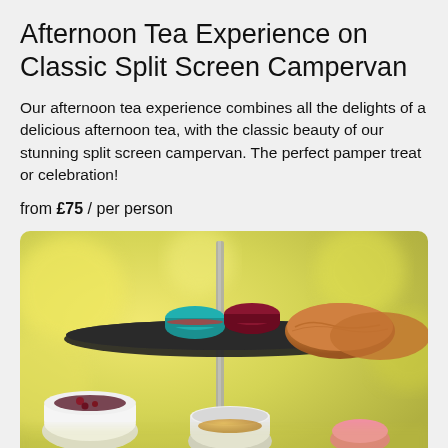Afternoon Tea Experience on Classic Split Screen Campervan
Our afternoon tea experience combines all the delights of a delicious afternoon tea, with the classic beauty of our stunning split screen campervan. The perfect pamper treat or celebration!
from £75 / per person
[Figure (photo): Close-up photograph of an afternoon tea tiered stand with macarons (teal and dark red), scones, and small jars of jam and preserves on a blurred yellow-green background.]